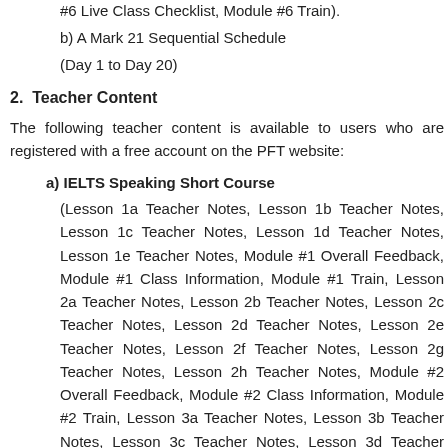#6 Live Class Checklist, Module #6 Train).
b) A Mark 21 Sequential Schedule
(Day 1 to Day 20)
2.  Teacher Content
The following teacher content is available to users who are registered with a free account on the PFT website:
a) IELTS Speaking Short Course
(Lesson 1a Teacher Notes, Lesson 1b Teacher Notes, Lesson 1c Teacher Notes, Lesson 1d Teacher Notes, Lesson 1e Teacher Notes, Module #1 Overall Feedback, Module #1 Class Information, Module #1 Train, Lesson 2a Teacher Notes, Lesson 2b Teacher Notes, Lesson 2c Teacher Notes, Lesson 2d Teacher Notes, Lesson 2e Teacher Notes, Lesson 2f Teacher Notes, Lesson 2g Teacher Notes, Lesson 2h Teacher Notes, Module #2 Overall Feedback, Module #2 Class Information, Module #2 Train, Lesson 3a Teacher Notes, Lesson 3b Teacher Notes, Lesson 3c Teacher Notes, Lesson 3d Teacher Notes, Lesson 3e Teacher Notes, Lesson 3f Teacher Notes, Lesson 3g Teacher Notes, Lesson 3h Teacher Notes, Lesson 3i Teacher Notes, Lesson 3j Teacher Notes, Module #3 Overall Feedback, Module #3 Class Information, Module #3 Train, Lesson 4a Teacher Notes, Lesson